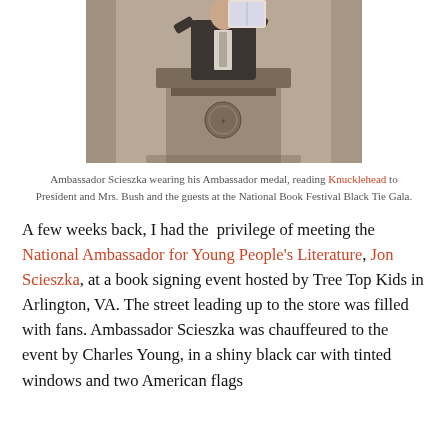[Figure (photo): Black and white sepia-toned photo of Ambassador Scieszka at a podium/lectern with an official seal, holding up a book, wearing a suit.]
Ambassador Scieszka wearing his Ambassador medal, reading Knucklehead to President and Mrs. Bush and the guests at the National Book Festival Black Tie Gala.
A few weeks back, I had the  privilege of meeting the National Ambassador for Young People's Literature, Jon Scieszka, at a book signing event hosted by Tree Top Kids in Arlington, VA. The street leading up to the store was filled with fans. Ambassador Scieszka was chauffeured to the event by Charles Young, in a shiny black car with tinted windows and two American flags